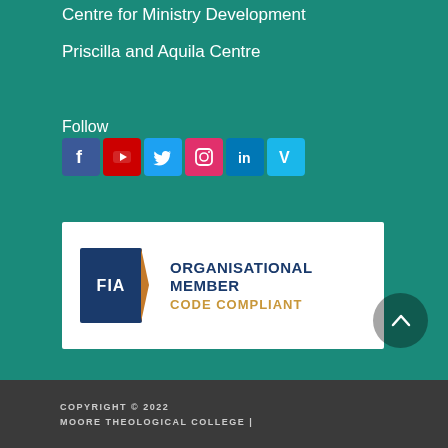Centre for Ministry Development
Priscilla and Aquila Centre
Follow
[Figure (logo): Social media icons: Facebook, YouTube, Twitter, Instagram, LinkedIn, Vimeo]
[Figure (logo): FIA Organisational Member Code Compliant badge on white background]
[Figure (other): Dark circular scroll-to-top button with upward chevron]
COPYRIGHT © 2022 MOORE THEOLOGICAL COLLEGE |